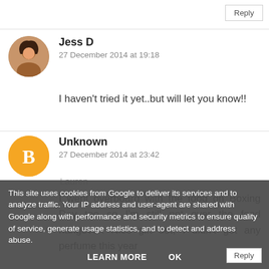Reply
[Figure (photo): Circular avatar photo of Jess D, a woman with dark hair]
Jess D
27 December 2014 at 19:18
I haven't tried it yet..but will let you know!!
[Figure (illustration): Orange circular avatar with white blogger 'B' icon for Unknown commenter]
Unknown
27 December 2014 at 23:42
I went overboard with the food on Boxing Day too so I'm still not over the food hangover! Nice gift set, I didn't get any perfume this year
Lauren
Reply
This site uses cookies from Google to deliver its services and to analyze traffic. Your IP address and user-agent are shared with Google along with performance and security metrics to ensure quality of service, generate usage statistics, and to detect and address abuse.
LEARN MORE
OK